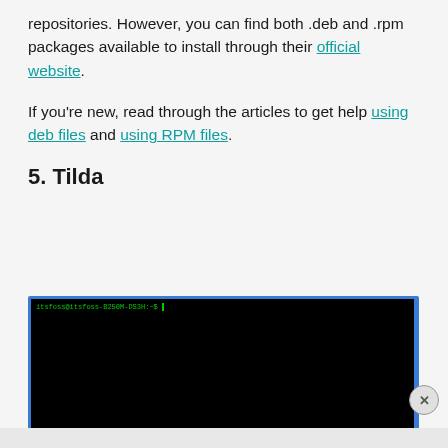repositories. However, you can find both .deb and .rpm packages available to install through their official website.
If you're new, read through the articles to get help using deb files and using RPM files.
5. Tilda
[Figure (screenshot): Terminal emulator screenshot showing a dark/black terminal window with a green prompt: itsfoss@itsfoss-B250M-DS3H:~$ with a cursor, on a blue background border. Below the terminal is an advertisement banner for Freesta (ad management solutions).]